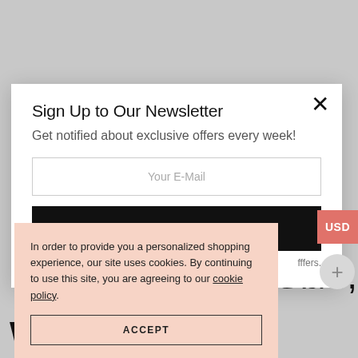Sign Up to Our Newsletter
Get notified about exclusive offers every week!
Your E-Mail
fffers.
IA 6 Gb/s,
WD102PURZ
USD
In order to provide you a personalized shopping experience, our site uses cookies. By continuing to use this site, you are agreeing to our cookie policy.
ACCEPT